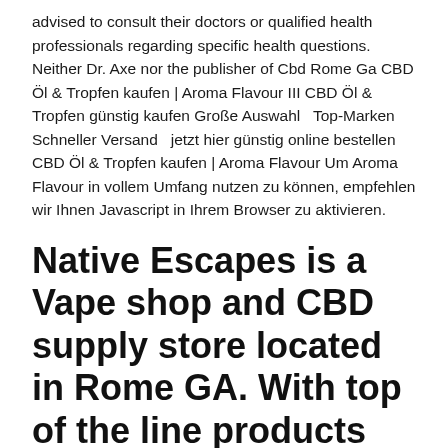advised to consult their doctors or qualified health professionals regarding specific health questions. Neither Dr. Axe nor the publisher of Cbd Rome Ga CBD Öl & Tropfen kaufen | Aroma Flavour III CBD Öl & Tropfen günstig kaufen Große Auswahl  Top-Marken  Schneller Versand  jetzt hier günstig online bestellen CBD Öl & Tropfen kaufen | Aroma Flavour Um Aroma Flavour in vollem Umfang nutzen zu können, empfehlen wir Ihnen Javascript in Ihrem Browser zu aktivieren.
Native Escapes is a Vape shop and CBD supply store located in Rome GA. With top of the line products we offer a loung to relax and experts for questions.
New CBD and Vapor Lounge to Open in Rome, GA - EIN News Native Escapes to be first CBD and vapor lounge on